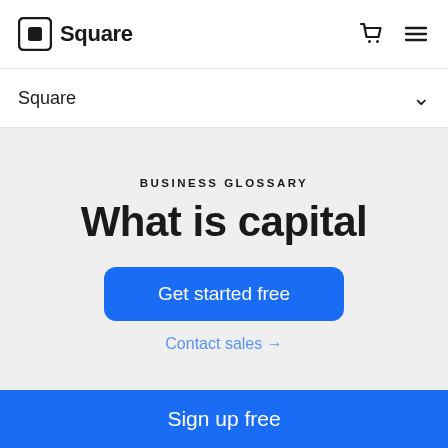Square
Square
BUSINESS GLOSSARY
What is capital
Get started free
Contact sales →
Sign up free